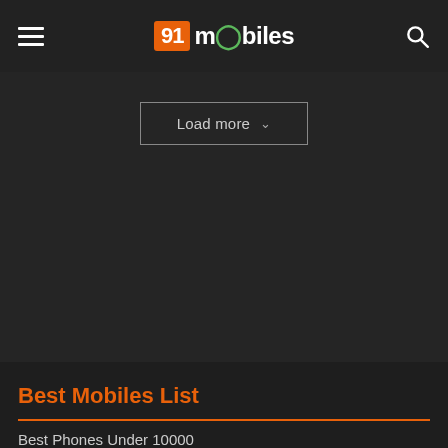91mobiles
Load more
Best Mobiles List
Best Phones Under 10000